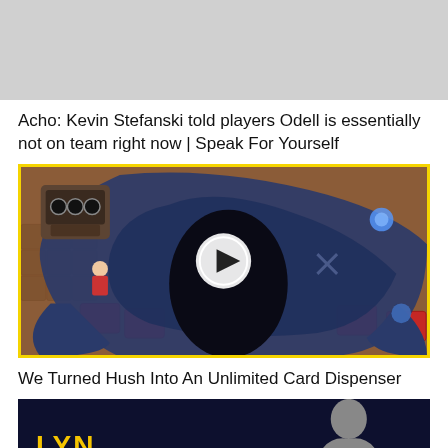[Figure (photo): Gray placeholder image at top of page]
Acho: Kevin Stefanski told players Odell is essentially not on team right now | Speak For Yourself
[Figure (screenshot): Video thumbnail with yellow border showing a dark blue creature character from a card game, with a play button overlay in the center]
We Turned Hush Into An Unlimited Card Dispenser
[Figure (screenshot): Dark blue banner image showing LYN text in yellow at the bottom left, with a partial silhouette of a person on the right side]